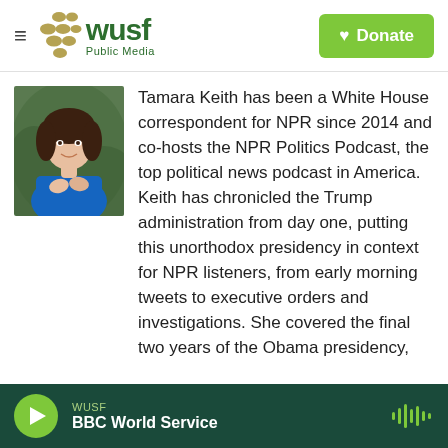WUSF Public Media — Donate
[Figure (photo): Photo of Tamara Keith, a woman in a blue dress, smiling, outdoors with green background]
Tamara Keith has been a White House correspondent for NPR since 2014 and co-hosts the NPR Politics Podcast, the top political news podcast in America. Keith has chronicled the Trump administration from day one, putting this unorthodox presidency in context for NPR listeners, from early morning tweets to executive orders and investigations. She covered the final two years of the Obama presidency, and during the 2016 presidential campaign she was assigned to cover Hillary Clinton. In 2018, Keith was elected to serve on the board of the White House
WUSF — BBC World Service